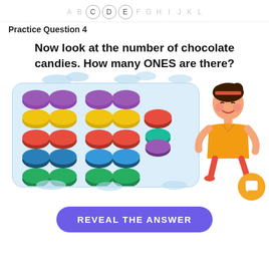A B C D E F G H I J K L
Practice Question 4
Now look at the number of chocolate candies. How many ONES are there?
[Figure (illustration): Grid of colorful chocolate candy pieces arranged in rows and columns: 4 purple, 4 yellow, 4 red, 4 blue, 4 green in main groups plus a single red, and two extras (red and teal/purple stacked), with a cartoon girl figure on the right side]
[Figure (other): Orange circular chat/answer button with white book icon]
REVEAL THE ANSWER